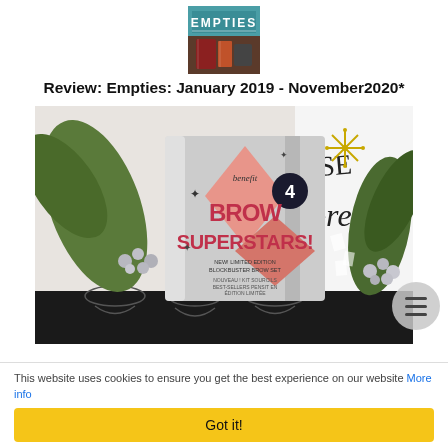[Figure (photo): Logo image for 'EMPTIES' blog/magazine — shows the word EMPTIES on a teal background with beauty product packaging underneath]
Review: Empties: January 2019 - November2020*
[Figure (photo): Photograph of Benefit Brow Superstars! limited edition blockbuster brow set product, a cylindrical silver and pink packaging with diamond graphic, surrounded by silver decorative leaves and berries and holiday card in the background]
This website uses cookies to ensure you get the best experience on our website More info
Got it!